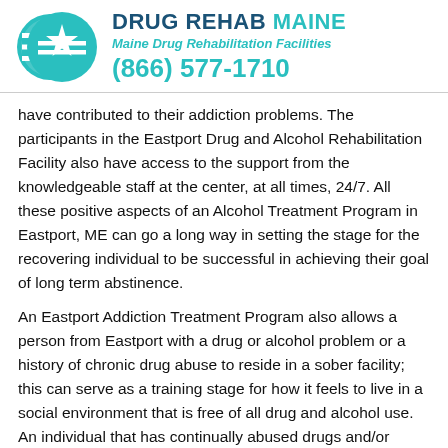DRUG REHAB MAINE
Maine Drug Rehabilitation Facilities
(866) 577-1710
have contributed to their addiction problems. The participants in the Eastport Drug and Alcohol Rehabilitation Facility also have access to the support from the knowledgeable staff at the center, at all times, 24/7. All these positive aspects of an Alcohol Treatment Program in Eastport, ME can go a long way in setting the stage for the recovering individual to be successful in achieving their goal of long term abstinence.
An Eastport Addiction Treatment Program also allows a person from Eastport with a drug or alcohol problem or a history of chronic drug abuse to reside in a sober facility; this can serve as a training stage for how it feels to live in a social environment that is free of all drug and alcohol use. An individual that has continually abused drugs and/or alcohol for a long period of time may not even